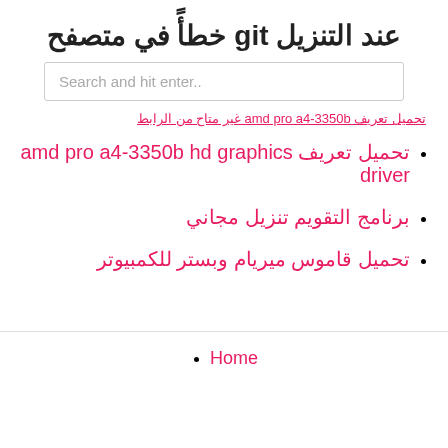عند التنزيل git خطأً في متصفح
Search and hit enter..
تحميل تعريف amd pro a4-3350b hd graphics driver
برنامج التقويم تنزيل مجاني
تحميل قاموس ميريام وبستر للكمبيوتر
Home